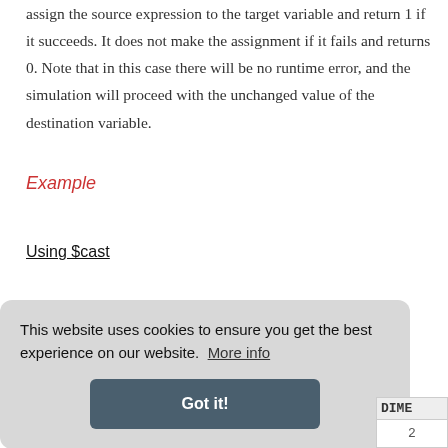assign the source expression to the target variable and return 1 if it succeeds. It does not make the assignment if it fails and returns 0. Note that in this case there will be no runtime error, and the simulation will proceed with the unchanged value of the destination variable.
Example
Using $cast
This website uses cookies to ensure you get the best experience on our website. More info
Got it!
| DIME |
| --- |
| 2 |